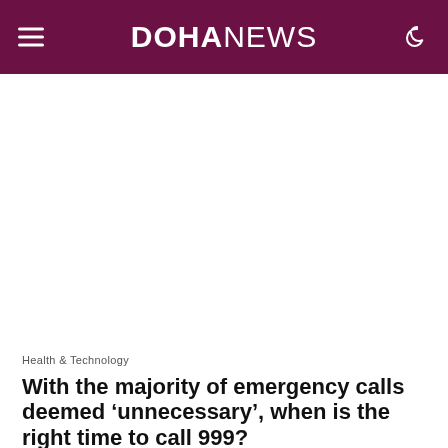DOHANEWS
[Figure (other): Advertisement / blank white space area below navigation header]
Health & Technology
With the majority of emergency calls deemed ‘unnecessary’, when is the right time to call 999?